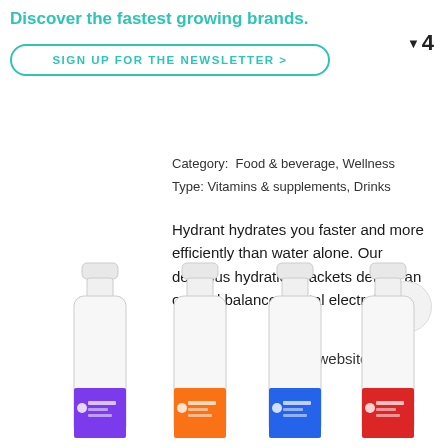Discover the fastest growing brands.
SIGN UP FOR THE NEWSLETTER >
▼4
Category: Food & beverage, Wellness
Type: Vitamins & supplements, Drinks
Hydrant hydrates you faster and more efficiently than water alone. Our delicious hydration packets deliver an optimal balance of vital electrolytes.
go to website ↗
[Figure (photo): Four small white plastic bottles with colorful labels featuring the Hydrant brand, arranged in a row at the bottom of the page.]